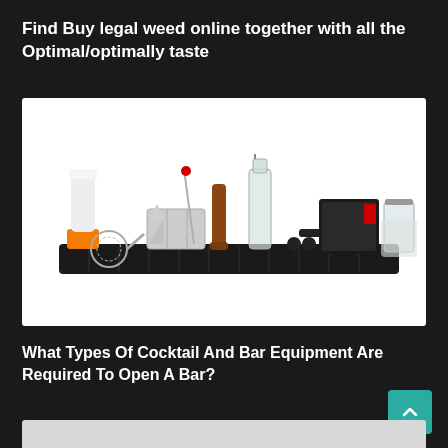Find Buy legal weed online together with all the Optimal/optimally taste
[Figure (photo): A collection of bar and cocktail equipment laid out on a black bar mat, including a white cocktail shaker with orange base, mixing spoon, strainer, jigger, ice mold tray, muddler, glass bottle, bottle opener, napkin holder with red accent, and a cocktail mixing glass with sleeve.]
What Types Of Cocktail And Bar Equipment Are Required To Open A Bar?